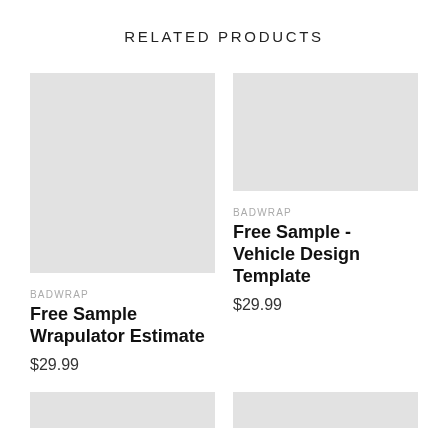RELATED PRODUCTS
[Figure (photo): Gray placeholder image for product 1 (left column, large square)]
BADWRAP
Free Sample Wrapulator Estimate
$29.99
[Figure (photo): Gray placeholder image for product 2 (right column, landscape)]
BADWRAP
Free Sample - Vehicle Design Template
$29.99
[Figure (photo): Gray placeholder image for product 3 (bottom left, partial)]
[Figure (photo): Gray placeholder image for product 4 (bottom right, partial)]